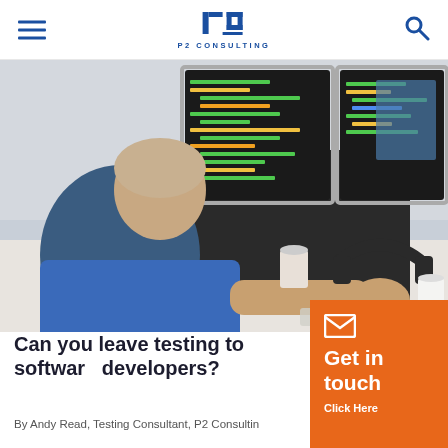P2 CONSULTING
[Figure (photo): Developer/programmer sitting at desk with dual monitors showing colorful code, headphones and coffee cup on desk, viewed from behind]
Can you leave testing to software developers?
By Andy Read, Testing Consultant, P2 Consultin
[Figure (infographic): Orange Get in touch CTA box with envelope icon and Click Here link]